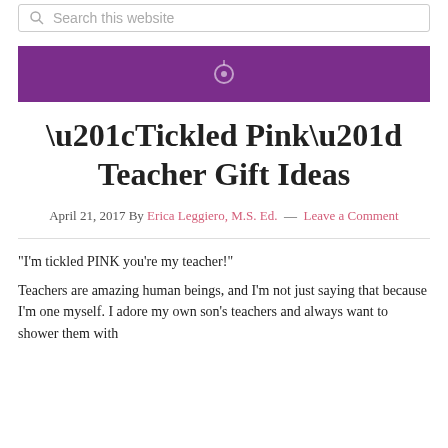Search this website
[Figure (other): Purple banner with a small centered icon]
“Tickled Pink” Teacher Gift Ideas
April 21, 2017 By Erica Leggiero, M.S. Ed. — Leave a Comment
“I’m tickled PINK you’re my teacher!”
Teachers are amazing human beings, and I’m not just saying that because I’m one myself. I adore my own son’s teachers and always want to shower them with